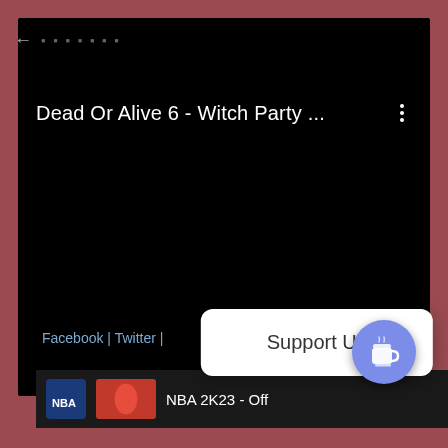[Figure (screenshot): Mobile app screenshot showing a dark video player screen with title 'Dead Or Alive 6 - Witch Party ...' and a three-dot menu icon. Below is a footer with 'Facebook | Twitter |' links, 'KARA' text, a 'Support Us' popup card, a coffee cup button, and a bottom bar showing 'NBA 2K23 - Off' with NBA logo.]